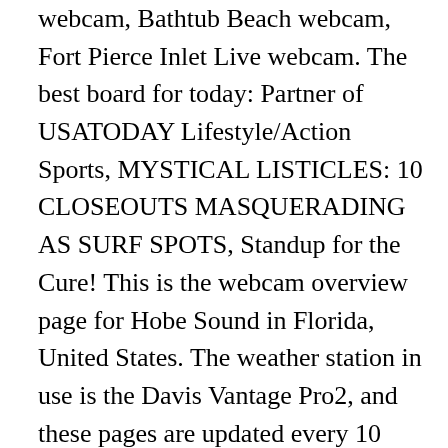webcam, Bathtub Beach webcam, Fort Pierce Inlet Live webcam. The best board for today: Partner of USATODAY Lifestyle/Action Sports, MYSTICAL LISTICLES: 10 CLOSEOUTS MASQUERADING AS SURF SPOTS, Standup for the Cure! This is the webcam overview page for Hobe Sound in Florida, United States. The weather station in use is the Davis Vantage Pro2, and these pages are updated every 10 minutes. Preserve sign is on the right. Enjoy watching our beautiful beaches live! Hobe Sound National Wildlife Refuge Beach is located in Martin County of Florida state. Large still images updated every 10 minutes with a ... Serving the Hobe Sound Area. Want to get more waves? Located at the private, members